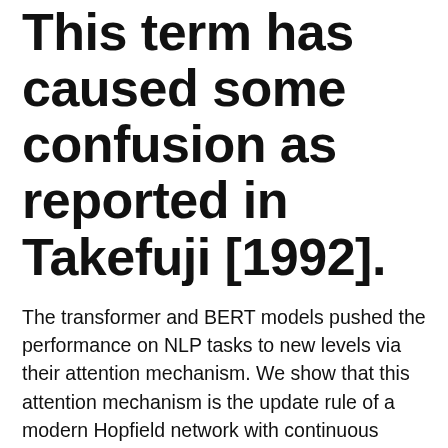This term has caused some confusion as reported in Takefuji [1992].
The transformer and BERT models pushed the performance on NLP tasks to new levels via their attention mechanism. We show that this attention mechanism is the update rule of a modern Hopfield network with continuous states.
The new Hopfield network can store exponentially (with the dimension of the association space)